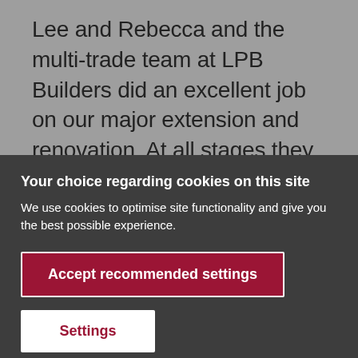Lee and Rebecca and the multi-trade team at LPB Builders did an excellent job on our major extension and renovation. At all stages they involved us in the important decisions and...
Your choice regarding cookies on this site
We use cookies to optimise site functionality and give you the best possible experience.
Accept recommended settings
Settings